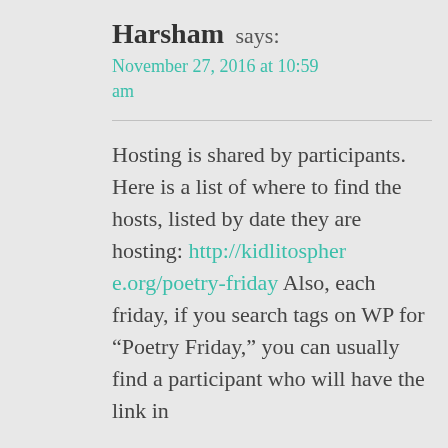Harsham says:
November 27, 2016 at 10:59 am
Hosting is shared by participants. Here is a list of where to find the hosts, listed by date they are hosting: http://kidlitosphere.org/poetry-friday Also, each friday, if you search tags on WP for “Poetry Friday,” you can usually find a participant who will have the link in